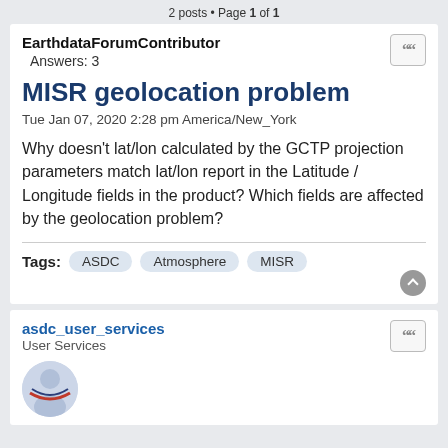2 posts • Page 1 of 1
EarthdataForumContributor
Answers: 3
MISR geolocation problem
Tue Jan 07, 2020 2:28 pm America/New_York
Why doesn't lat/lon calculated by the GCTP projection parameters match lat/lon report in the Latitude / Longitude fields in the product? Which fields are affected by the geolocation problem?
Tags: ASDC  Atmosphere  MISR
asdc_user_services
User Services